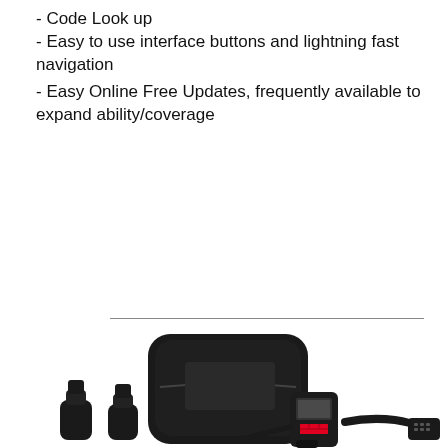- Code Look up
- Easy to use interface buttons and lightning fast navigation
- Easy Online Free Updates, frequently available to expand ability/coverage
[Figure (photo): Product photo of an OBD diagnostic scanner tool with carrying case, multiple cable connectors, and a handheld device with red buttons and a small screen, along with an OBD connector cable.]